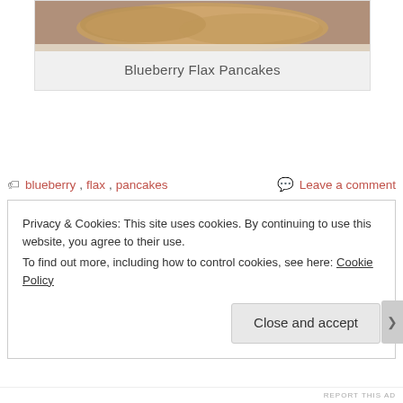[Figure (photo): Photo of blueberry flax pancakes on a white plate, partially cropped at top]
Blueberry Flax Pancakes
blueberry, flax, pancakes    Leave a comment
Privacy & Cookies: This site uses cookies. By continuing to use this website, you agree to their use.
To find out more, including how to control cookies, see here: Cookie Policy
Close and accept
REPORT THIS AD